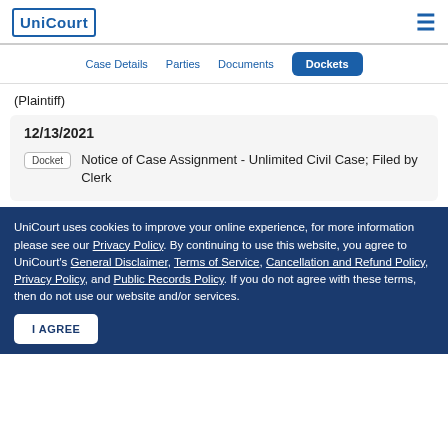UniCourt
(Plaintiff)
12/13/2021
Docket  Notice of Case Assignment - Unlimited Civil Case; Filed by Clerk
UniCourt uses cookies to improve your online experience, for more information please see our Privacy Policy. By continuing to use this website, you agree to UniCourt's General Disclaimer, Terms of Service, Cancellation and Refund Policy, Privacy Policy, and Public Records Policy. If you do not agree with these terms, then do not use our website and/or services.
I AGREE